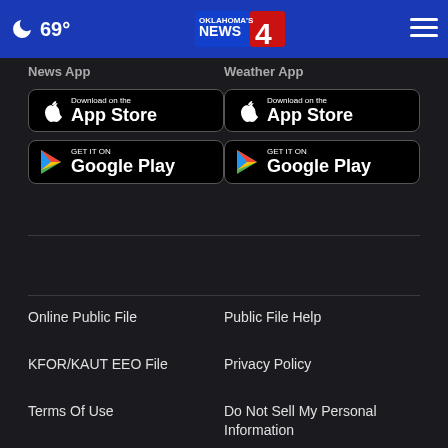69° Oklahoma's News 4
News App
Weather App
[Figure (screenshot): Download on the App Store badge (News App)]
[Figure (screenshot): GET IT ON Google Play badge (News App)]
[Figure (screenshot): Download on the App Store badge (Weather App)]
[Figure (screenshot): GET IT ON Google Play badge (Weather App)]
Online Public File
Public File Help
KFOR/KAUT EEO File
Privacy Policy
Terms Of Use
Do Not Sell My Personal Information